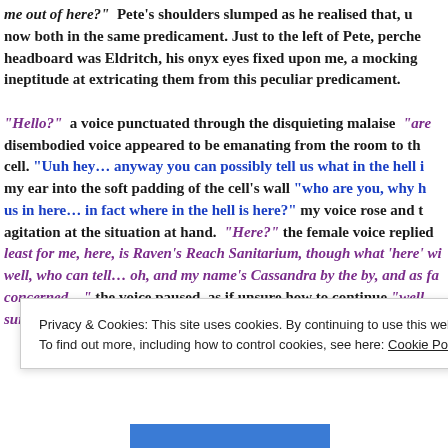me out of here?" Pete's shoulders slumped as he realised that, u now both in the same predicament. Just to the left of Pete, perche headboard was Eldritch, his onyx eyes fixed upon me, a mocking ineptitude at extricating them from this peculiar predicament. "Hello?" a voice punctuated through the disquieting malaise "are disembodied voice appeared to be emanating from the room to th cell. "Uuh hey… anyway you can possibly tell us what in the hell i my ear into the soft padding of the cell's wall "who are you, why h us in here… in fact where in the hell is here?" my voice rose and t agitation at the situation at hand. "Here?" the female voice replied least for me, here, is Raven's Reach Sanitarium, though what 'here' wi well, who can tell… oh, and my name's Cassandra by the by, and as fa concerned…" the voice paused, as if unsure how to continue "well, sure who or what she is, it changes you see"
Privacy & Cookies: This site uses cookies. By continuing to use this website, you agree to their use. To find out more, including how to control cookies, see here: Cookie Policy
Close and accept